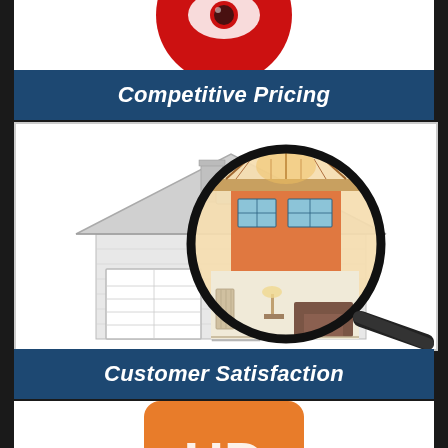[Figure (illustration): Partial red circular icon visible at top of infographic, cropped]
Competitive Pricing
[Figure (illustration): Illustration of a house with a magnifying glass overlay showing interior cross-section with rooms, furniture, and attic]
Customer Satisfaction
[Figure (illustration): Partial orange rounded square icon visible at bottom, cropped]